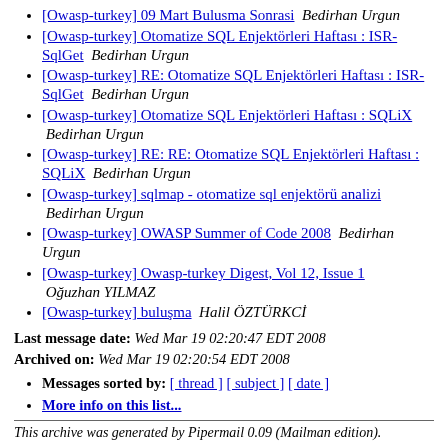[Owasp-turkey] 09 Mart Bulusma Sonrasi  Bedirhan Urgun
[Owasp-turkey] Otomatize SQL Enjektörleri Haftası : ISR-SqlGet  Bedirhan Urgun
[Owasp-turkey] RE: Otomatize SQL Enjektörleri Haftası : ISR-SqlGet  Bedirhan Urgun
[Owasp-turkey] Otomatize SQL Enjektörleri Haftası : SQLiX  Bedirhan Urgun
[Owasp-turkey] RE: RE: Otomatize SQL Enjektörleri Haftası : SQLiX  Bedirhan Urgun
[Owasp-turkey] sqlmap - otomatize sql enjektörü analizi  Bedirhan Urgun
[Owasp-turkey] OWASP Summer of Code 2008  Bedirhan Urgun
[Owasp-turkey] Owasp-turkey Digest, Vol 12, Issue 1  Oğuzhan YILMAZ
[Owasp-turkey] buluşma  Halil ÖZTÜRKCİ
Last message date: Wed Mar 19 02:20:47 EDT 2008
Archived on: Wed Mar 19 02:20:54 EDT 2008
Messages sorted by: [ thread ] [ subject ] [ date ]
More info on this list...
This archive was generated by Pipermail 0.09 (Mailman edition).